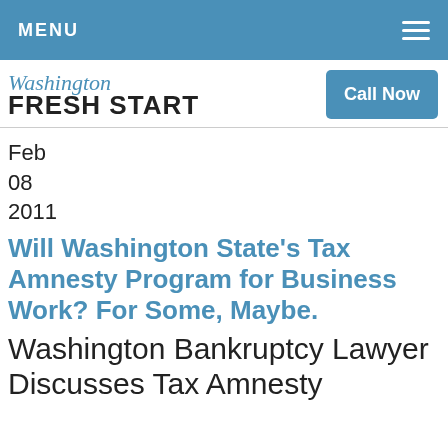MENU
[Figure (logo): Washington Fresh Start law firm logo with cursive 'Washington' above bold 'FRESH START' text]
Feb
08
2011
Will Washington State's Tax Amnesty Program for Business Work? For Some, Maybe.
Washington Bankruptcy Lawyer Discusses Tax Amnesty